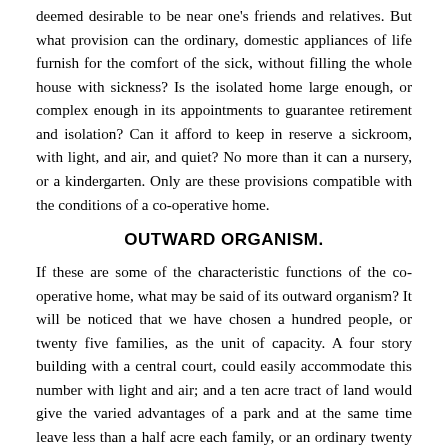deemed desirable to be near one's friends and relatives. But what provision can the ordinary, domestic appliances of life furnish for the comfort of the sick, without filling the whole house with sickness? Is the isolated home large enough, or complex enough in its appointments to guarantee retirement and isolation? Can it afford to keep in reserve a sickroom, with light, and air, and quiet? No more than it can a nursery, or a kindergarten. Only are these provisions compatible with the conditions of a co-operative home.
OUTWARD ORGANISM.
If these are some of the characteristic functions of the co-operative home, what may be said of its outward organism? It will be noticed that we have chosen a hundred people, or twenty five families, as the unit of capacity. A four story building with a central court, could easily accommodate this number with light and air; and a ten acre tract of land would give the varied advantages of a park and at the same time leave less than a half acre each family, or an ordinary twenty five feet lot to each person.
Since the perfect individuality, or isolation, of each person is to be